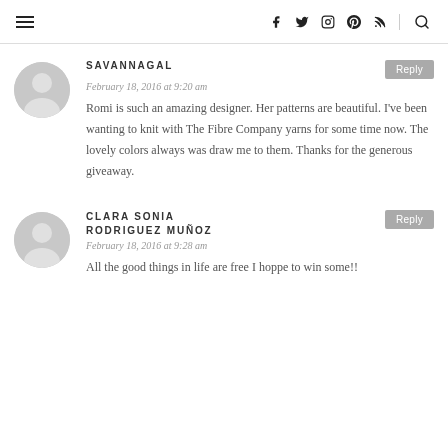≡ [navigation icons: facebook, twitter, instagram, pinterest, rss] [search]
SAVANNAGAL
February 18, 2016 at 9:20 am
Romi is such an amazing designer. Her patterns are beautiful. I've been wanting to knit with The Fibre Company yarns for some time now. The lovely colors always was draw me to them. Thanks for the generous giveaway.
CLARA SONIA RODRIGUEZ MUÑOZ
February 18, 2016 at 9:28 am
All the good things in life are free I hoppe to win some!!